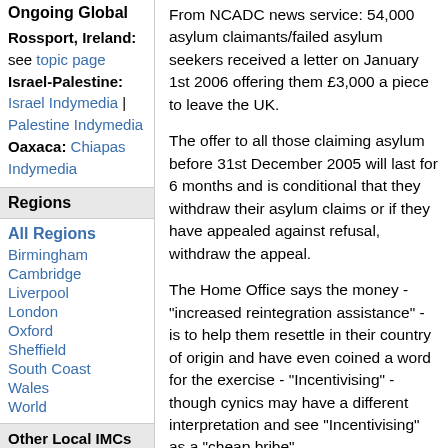Ongoing Global
Rossport, Ireland: see topic page
Israel-Palestine: Israel Indymedia | Palestine Indymedia
Oaxaca: Chiapas Indymedia
Regions
All Regions
Birmingham
Cambridge
Liverpool
London
Oxford
Sheffield
South Coast
Wales
World
Other Local IMCs
From NCADC news service: 54,000 asylum claimants/failed asylum seekers received a letter on January 1st 2006 offering them £3,000 a piece to leave the UK.
The offer to all those claiming asylum before 31st December 2005 will last for 6 months and is conditional that they withdraw their asylum claims or if they have appealed against refusal, withdraw the appeal.
The Home Office says the money - "increased reintegration assistance" - is to help them resettle in their country of origin and have even coined a word for the exercise - "Incentivising" - though cynics may have a different interpretation and see "Incentivising" as a "cheap bribe".
NCADC feel this offer is misguided and dangerous. Asylum seekers from such places as DR Congo, Somalia, Uganda etc. living in hardship and